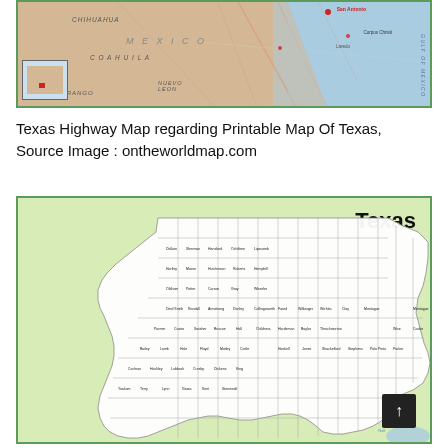[Figure (map): Texas Highway Map showing Texas, northern Mexico (Chihuahua, Coahuila, Durango, Nuevo Leon), and the Gulf of Mexico. Includes a small inset map of North America with Texas highlighted in red.]
Texas Highway Map regarding Printable Map Of Texas, Source Image : ontheworldmap.com
[Figure (map): Texas county map showing all 254 counties labeled, with the state silhouette on a light green background. 'Texas' label in bold top-right. Includes a scroll-to-top button (↑) in bottom-right corner.]